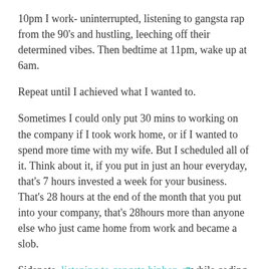10pm I work- uninterrupted, listening to gangsta rap from the 90's and hustling, leeching off their determined vibes. Then bedtime at 11pm, wake up at 6am.
Repeat until I achieved what I wanted to.
Sometimes I could only put 30 mins to working on the company if I took work home, or if I wanted to spend more time with my wife. But I scheduled all of it. Think about it, if you put in just an hour everyday, that's 7 hours invested a week for your business. That's 28 hours at the end of the month that you put into your company, that's 28hours more than anyone else who just came home from work and became a slob.
Sidenote, listening to gangsta hiphop [link] while coding will make you a better coder (your notes will be hilarious), and also these songs made me believe in my goals more. Not kidding, it worked for me.